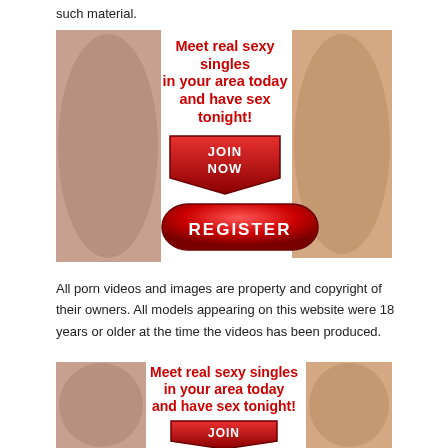such material.
[Figure (illustration): Dating/adult website advertisement banner with two female figures on left and right sides, red bold text headline 'Meet real sexy singles in your area today and have sex tonight!', a red arrow JOIN NOW button, and a large red REGISTER button in the center]
All porn videos and images are property and copyright of their owners. All models appearing on this website were 18 years or older at the time the videos has been produced.
[Figure (illustration): Second dating/adult website advertisement banner (partially visible) with two female figures on left and right sides, red bold text headline 'Meet real sexy singles in your area today and have sex tonight!', and a partial JOIN arrow button at the bottom]